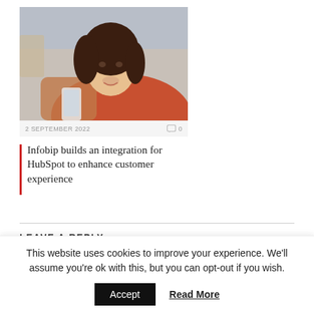[Figure (photo): Photo of a smiling woman with dark hair wearing an orange/red top, looking at a smartphone or device. Background is blurred.]
2 SEPTEMBER 2022   💬0
Infobip builds an integration for HubSpot to enhance customer experience
LEAVE A REPLY
Your Comment
This website uses cookies to improve your experience. We'll assume you're ok with this, but you can opt-out if you wish.
Accept   Read More